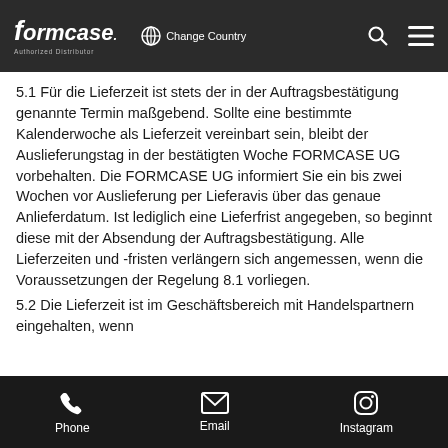Formcase – Authorized Distributor | Change Country | Navigation
5.1 Für die Lieferzeit ist stets der in der Auftragsbestätigung genannte Termin maßgebend. Sollte eine bestimmte Kalenderwoche als Lieferzeit vereinbart sein, bleibt der Auslieferungstag in der bestätigten Woche FORMCASE UG vorbehalten. Die FORMCASE UG informiert Sie ein bis zwei Wochen vor Auslieferung per Lieferavis über das genaue Anlieferdatum. Ist lediglich eine Lieferfrist angegeben, so beginnt diese mit der Absendung der Auftragsbestätigung. Alle Lieferzeiten und -fristen verlängern sich angemessen, wenn die Voraussetzungen der Regelung 8.1 vorliegen.
5.2 Die Lieferzeit ist im Geschäftsbereich mit Handelspartnern eingehalten, wenn
Phone | Email | Instagram